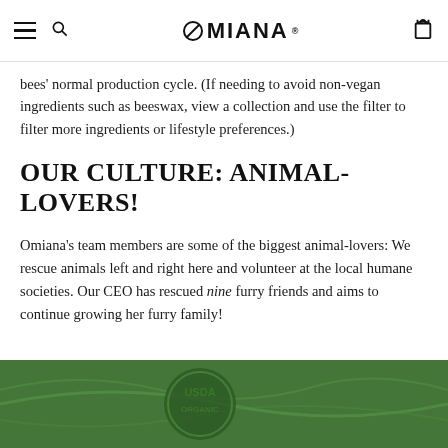OMIANA (navigation bar with hamburger menu, search icon, logo, and bag icon)
bees' normal production cycle. (If needing to avoid non-vegan ingredients such as beeswax, view a collection and use the filter to filter more ingredients or lifestyle preferences.)
OUR CULTURE: ANIMAL-LOVERS!
Omiana's team members are some of the biggest animal-lovers: We rescue animals left and right here and volunteer at the local humane societies. Our CEO has rescued nine furry friends and aims to continue growing her furry family!
[Figure (photo): Close-up photo of green leaves with a USDA Organic stamp/seal visible in green tones]